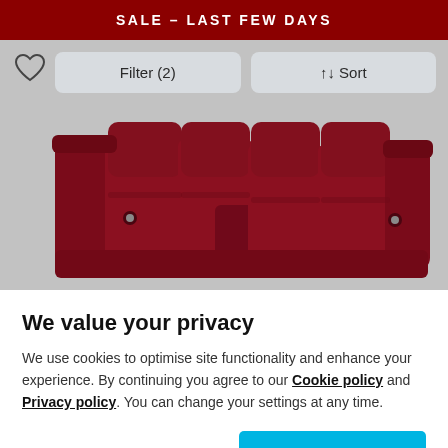SALE – LAST FEW DAYS
[Figure (screenshot): Heart/wishlist icon partially visible at top left of product listing area]
[Figure (screenshot): Filter (2) and Sort buttons UI controls on light grey background]
[Figure (photo): Dark red / burgundy leather corner sofa with recliner buttons, displayed on grey background]
We value your privacy
We use cookies to optimise site functionality and enhance your experience. By continuing you agree to our Cookie policy and Privacy policy. You can change your settings at any time.
Manage cookies
Accept all cookies